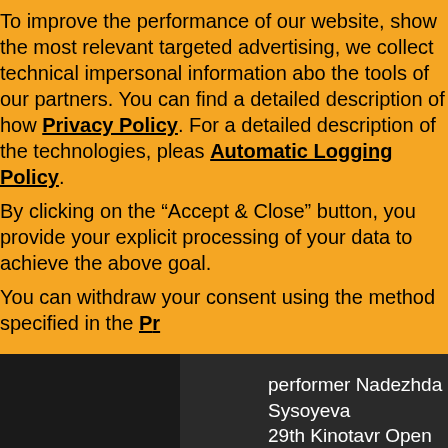To improve the performance of our website, show the most relevant targeted advertising, we collect technical impersonal information about the tools of our partners. You can find a detailed description of how we use your Privacy Policy. For a detailed description of the technologies, please see the Automatic Logging Policy.
By clicking on the “Accept & Close” button, you provide your explicit processing of your data to achieve the above goal.
You can withdraw your consent using the method specified in the Privacy Policy
performer Nadezhda Sysoyeva 29th Kinotavr Open Russian Fi...
Categories: Arts, Cultu... Feature: 29th Kinot... Location: Sochi, Rus...